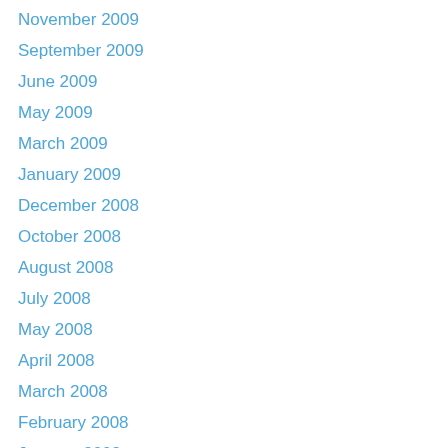November 2009
September 2009
June 2009
May 2009
March 2009
January 2009
December 2008
October 2008
August 2008
July 2008
May 2008
April 2008
March 2008
February 2008
January 2008
October 2007
September 2007
August 2007
July 2007
May 2007